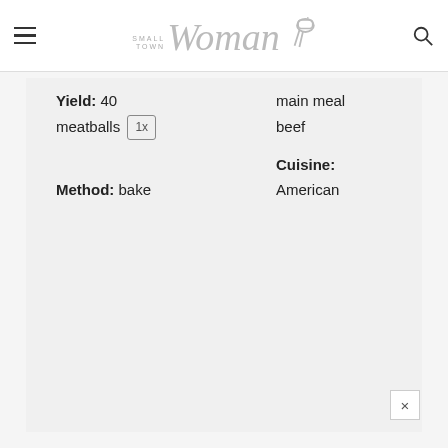Small Town Woman
Yield: 40 meatballs 1x   main meal
                              beef

Method: bake   Cuisine:
                              American